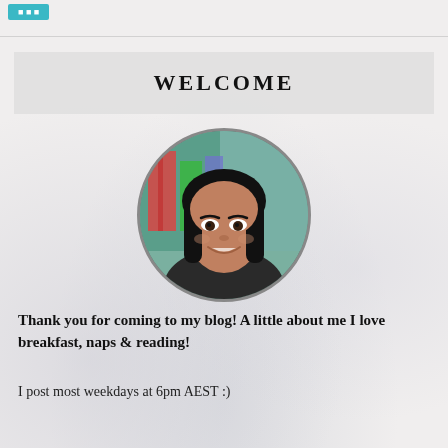WELCOME
[Figure (photo): Circular cropped portrait photo of a young woman with long dark hair, smiling, shown from shoulders up against a blurred colorful background.]
Thank you for coming to my blog! A little about me I love breakfast, naps & reading!
I post most weekdays at 6pm AEST :)